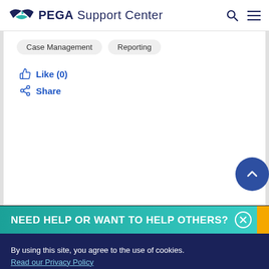PEGA Support Center
Case Management   Reporting
Like (0)
Share
NEED HELP OR WANT TO HELP OTHERS?
By using this site, you agree to the use of cookies. Read our Privacy Policy
Accept and continue   About cookies